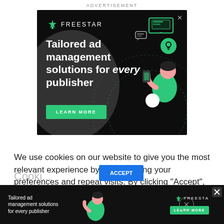ADVERTISEMENT
[Figure (illustration): Freestar advertisement banner with dark background showing 'Tailored ad management solutions for every publisher' headline with green LEARN MORE button and illustrated character using phone]
We use cookies on our website to give you the most relevant experience by remembering your preferences and repeat visits. By clicking “Accept”, you consent to the use of ALL the cookies.
[Figure (illustration): Bottom sticky Freestar advertisement banner repeating the tailored ad management message with LEARN MORE button]